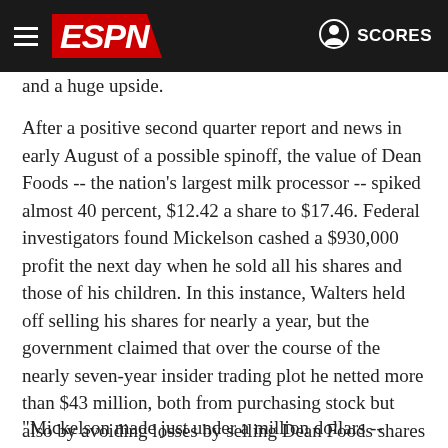ESPN SCORES
and a huge upside.
After a positive second quarter report and news in early August of a possible spinoff, the value of Dean Foods -- the nation's largest milk processor -- spiked almost 40 percent, $12.42 a share to $17.46. Federal investigators found Mickelson cashed a $930,000 profit the next day when he sold all his shares and those of his children. In this instance, Walters held off selling his shares for nearly a year, but the government claimed that over the course of the nearly seven-year insider trading plot he netted more than $43 million, both from purchasing stock but also by avoiding losses by selling Dean Foods shares after receiving helpful insight from Davis.
"Mickelson made just under a million dollars -- money that ultimately he transferred right back to the defendant because of a gambling debt," prosecutors told the jury. "Of course, Phil